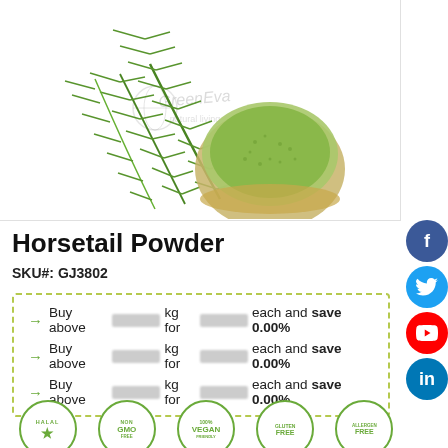[Figure (photo): Horsetail plant with green needle-like leaves next to a round wooden bowl of green powder, with GreenEva natural living watermark]
Horsetail Powder
SKU#: GJ3802
→ Buy above [redacted] kg for [redacted] each and save 0.00%
→ Buy above [redacted] kg for [redacted] each and save 0.00%
→ Buy above [redacted] kg for [redacted] each and save 0.00%
[Figure (infographic): Certification badges: HALAL, GMO, VEGAN, GLUTEN, ALLERGEN]